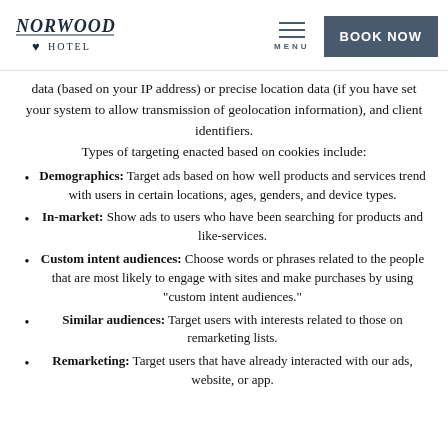Norwood Hotel | MENU | BOOK NOW
data (based on your IP address) or precise location data (if you have set your system to allow transmission of geolocation information), and client identifiers.
Types of targeting enacted based on cookies include:
Demographics: Target ads based on how well products and services trend with users in certain locations, ages, genders, and device types.
In-market: Show ads to users who have been searching for products and like-services.
Custom intent audiences: Choose words or phrases related to the people that are most likely to engage with sites and make purchases by using "custom intent audiences."
Similar audiences: Target users with interests related to those on remarketing lists.
Remarketing: Target users that have already interacted with our ads, website, or app.